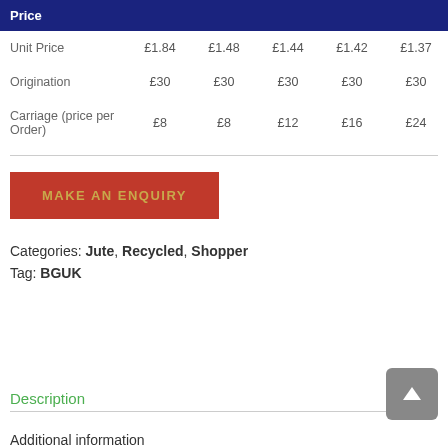| Price |  |  |  |  |  |
| --- | --- | --- | --- | --- | --- |
| Unit Price | £1.84 | £1.48 | £1.44 | £1.42 | £1.37 |
| Origination | £30 | £30 | £30 | £30 | £30 |
| Carriage (price per Order) | £8 | £8 | £12 | £16 | £24 |
MAKE AN ENQUIRY
Categories: Jute, Recycled, Shopper
Tag: BGUK
Description
Additional information